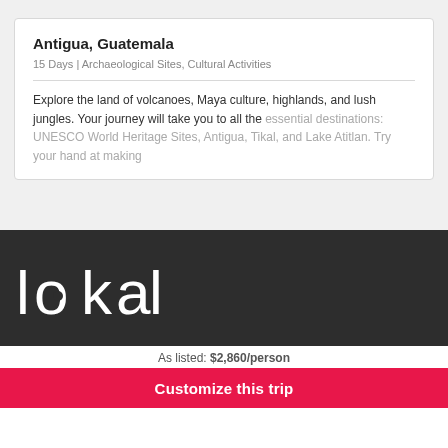Antigua, Guatemala
15 Days | Archaeological Sites, Cultural Activities
Explore the land of volcanoes, Maya culture, highlands, and lush jungles. Your journey will take you to all the essential destinations: UNESCO World Heritage Sites, Antigua, Tikal, and Lake Atitlan. Try your hand at making
[Figure (logo): Lokal brand logo in white text on dark background]
As listed: $2,860/person
Customize this trip